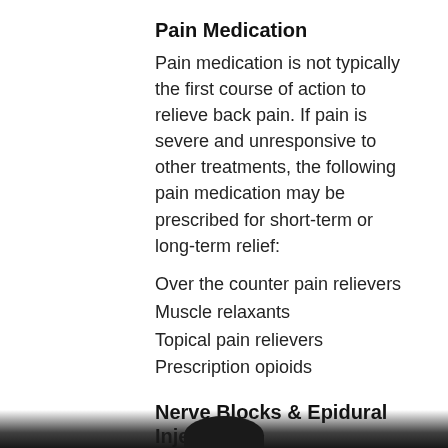Pain Medication
Pain medication is not typically the first course of action to relieve back pain. If pain is severe and unresponsive to other treatments, the following pain medication may be prescribed for short-term or long-term relief:
Over the counter pain relievers
Muscle relaxants
Topical pain relievers
Prescription opioids
Nerve Blocks & Epidural Injections
When the source of chronic back pain is known, nerve block or epidural injections may be recommended. These minimally invasive injections